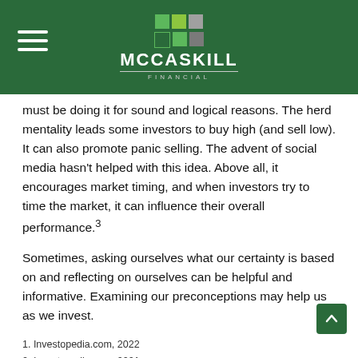[Figure (logo): McCaskill Financial logo with colored squares and company name on dark green header bar]
must be doing it for sound and logical reasons. The herd mentality leads some investors to buy high (and sell low). It can also promote panic selling. The advent of social media hasn't helped with this idea. Above all, it encourages market timing, and when investors try to time the market, it can influence their overall performance.³
Sometimes, asking ourselves what our certainty is based on and reflecting on ourselves can be helpful and informative. Examining our preconceptions may help us as we invest.
1. Investopedia.com, 2022
2. Investopedia.com, 2021
3. WebMD.com, 2022
The content is developed from sources believed to be providing accurate information. The information in this material is not intended as tax or legal advice. It may not be used for the purpose of avoiding any federal tax penalties. Please consult legal or tax professionals for specific information regarding your individual situation. This material was developed and produced by FMG Suite to provide information on a topic that may